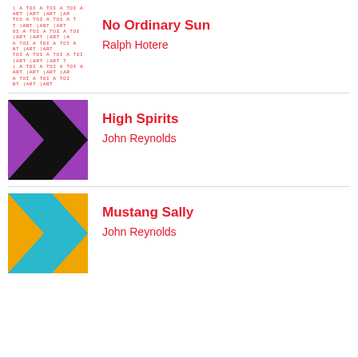No Ordinary Sun — Ralph Hotere
High Spirits — John Reynolds
Mustang Sally — John Reynolds